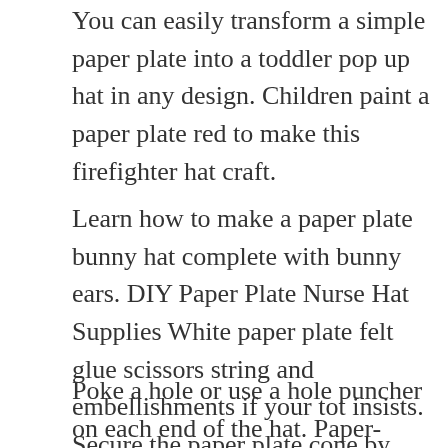You can easily transform a simple paper plate into a toddler pop up hat in any design. Children paint a paper plate red to make this firefighter hat craft.
Learn how to make a paper plate bunny hat complete with bunny ears. DIY Paper Plate Nurse Hat Supplies White paper plate felt glue scissors string and embellishments if your tot insists. Secure the paper plate cone by using a.
Poke a hole or use a hole puncher on each end of the hat. Paper-Plate Heart Hats What mom or dad wouldnt be proud to wear this Valentine